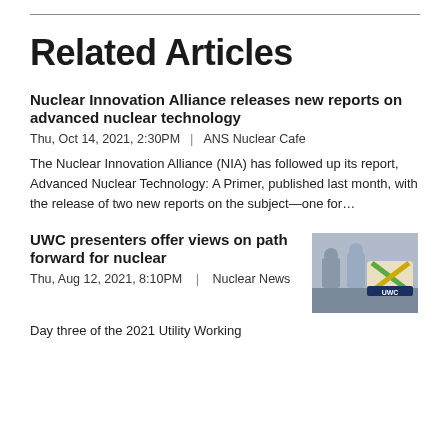Related Articles
Nuclear Innovation Alliance releases new reports on advanced nuclear technology
Thu, Oct 14, 2021, 2:30PM  |  ANS Nuclear Cafe
The Nuclear Innovation Alliance (NIA) has followed up its report, Advanced Nuclear Technology: A Primer, published last month, with the release of two new reports on the subject—one for…
UWC presenters offer views on path forward for nuclear
[Figure (photo): UWC logo/event photo showing people and UWC branding]
Thu, Aug 12, 2021, 8:10PM  |  Nuclear News
Day three of the 2021 Utility Working